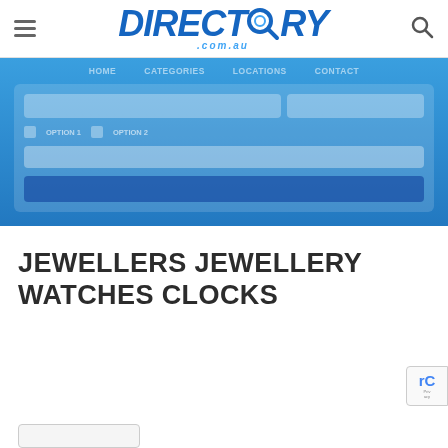Directory.com.au
[Figure (screenshot): Blue banner search form area of Directory.com.au website with blurred/obscured form fields and navigation]
JEWELLERS JEWELLERY WATCHES CLOCKS